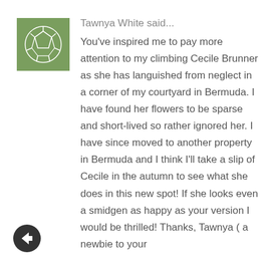[Figure (illustration): Green square avatar with white geometric/soccer-ball-like pattern]
Tawnya White said...
You've inspired me to pay more attention to my climbing Cecile Brunner as she has languished from neglect in a corner of my courtyard in Bermuda. I have found her flowers to be sparse and short-lived so rather ignored her. I have since moved to another property in Bermuda and I think I'll take a slip of Cecile in the autumn to see what she does in this new spot! If she looks even a smidgen as happy as your version I would be thrilled! Thanks, Tawnya ( a newbie to your
[Figure (illustration): Dark circular back navigation arrow button]